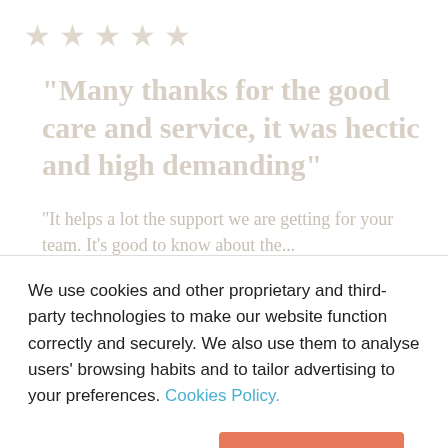[Figure (other): Five star rating icons in light beige/faded color]
“Many thanks for the good care and service, it was hectic and high demanding”
“It helps a lot the support we are getting for your team. It’s good to know about the...
We use cookies and other proprietary and third-party technologies to make our website function correctly and securely. We also use them to analyse users' browsing habits and to tailor advertising to your preferences. Cookies Policy.
Set your preferences
Allow all cookies